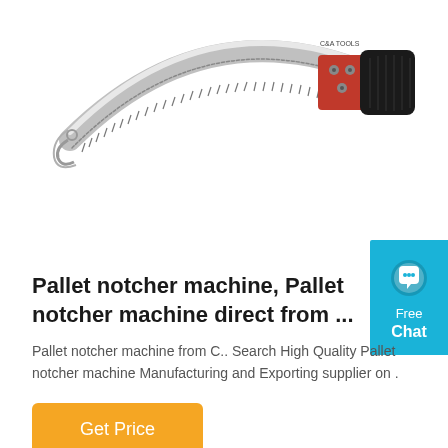[Figure (photo): A curved pruning saw / arborist saw with a serrated stainless steel blade, red and black handle with C&A Tools branding]
[Figure (infographic): Free Chat button widget in cyan/teal color with speech bubble icon, text reads Free Chat]
Pallet notcher machine, Pallet notcher machine direct from ...
Pallet notcher machine from C.. Search High Quality Pallet notcher machine Manufacturing and Exporting supplier on .
Get Price